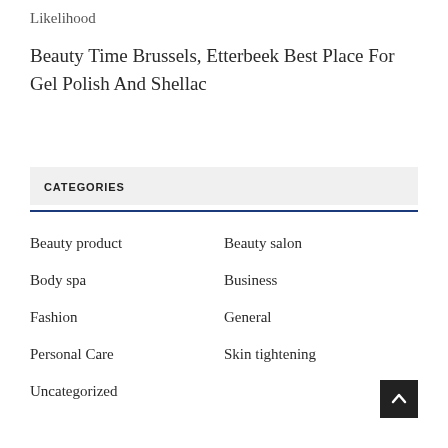Likelihood
Beauty Time Brussels, Etterbeek Best Place For Gel Polish And Shellac
CATEGORIES
Beauty product
Beauty salon
Body spa
Business
Fashion
General
Personal Care
Skin tightening
Uncategorized